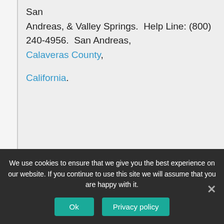San Andreas, & Valley Springs.  Help Line: (800) 240-4956.  San Andreas, Calaveras County, California.
Central Sierra South Area of Narcotics Anonymous – Includes NA meetings in Jamestown, Sonora, Sugar Pine, Tuolumne, & Twain Harte. Help Line: (209) 533-2348. Sonora,
We use cookies to ensure that we give you the best experience on our website. If you continue to use this site we will assume that you are happy with it.